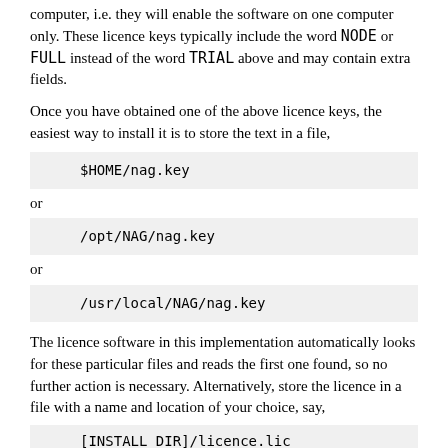computer, i.e. they will enable the software on one computer only. These licence keys typically include the word NODE or FULL instead of the word TRIAL above and may contain extra fields.
Once you have obtained one of the above licence keys, the easiest way to install it is to store the text in a file,
$HOME/nag.key
or
/opt/NAG/nag.key
or
/usr/local/NAG/nag.key
The licence software in this implementation automatically looks for these particular files and reads the first one found, so no further action is necessary. Alternatively, store the licence in a file with a name and location of your choice, say,
[INSTALL_DIR]/licence.lic